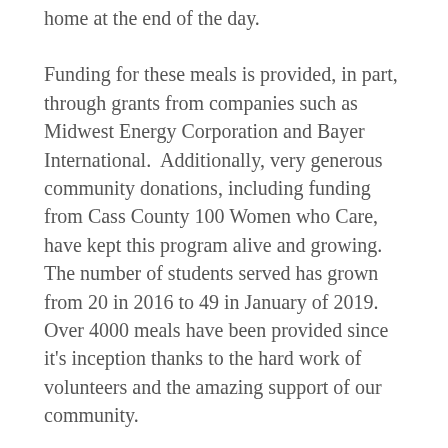home at the end of the day.
Funding for these meals is provided, in part, through grants from companies such as Midwest Energy Corporation and Bayer International.  Additionally, very generous community donations, including funding from Cass County 100 Women who Care, have kept this program alive and growing. The number of students served has grown from 20 in 2016 to 49 in January of 2019. Over 4000 meals have been provided since it's inception thanks to the hard work of volunteers and the amazing support of our community.
Shown are Barb Strlekar, Nancy Smith, Barb Mesko, and Gretchen Kelley packing backpacks with nutritious food to take home to eat on